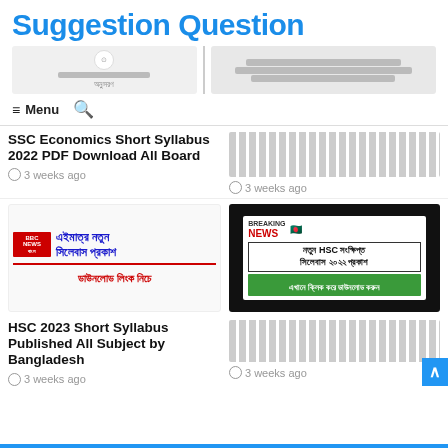Suggestion Question
[Figure (screenshot): Website header banner with Bengali text and navigation (Menu + Search icon) for Suggestion Question website]
SSC Economics Short Syllabus 2022 PDF Download All Board
3 weeks ago
[Figure (screenshot): Bengali text article thumbnail with placeholder text blocks]
3 weeks ago
[Figure (screenshot): BBC News Bangla style card with Bengali text: এইমাত্র নতুন সিলেবাস প্রকাশ, ডাউনলোড লিংক নিচে]
[Figure (screenshot): Breaking News card with Bengali text: নতুন HSC সংক্ষিপ্ত সিলেবাস ২০২২ প্রকাশ, এখানে ক্লিক করে ডাউনলোড করুন]
HSC 2023 Short Syllabus Published All Subject by Bangladesh
3 weeks ago
[Figure (screenshot): Bengali text article thumbnail with placeholder text blocks]
3 weeks ago